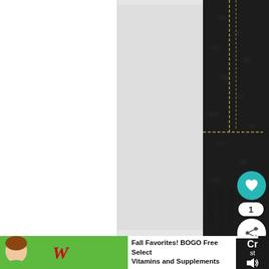[Figure (photo): Product photo showing a black leather bag or wallet with gold stitching detail against a light grey/white background. The right portion shows close-up of black pebbled leather with gold dashed stitching forming a rectangular border pattern, with tassel elements visible at the bottom.]
[Figure (screenshot): Bottom advertisement banner for Walgreens: 'Fall Favorites! BOGO Free Select Vitamins and Supplements' with Walgreens cursive logo, navigation arrow icon, and partial website UI elements including a heart/save button with teal background showing count of 1, and a share button.]